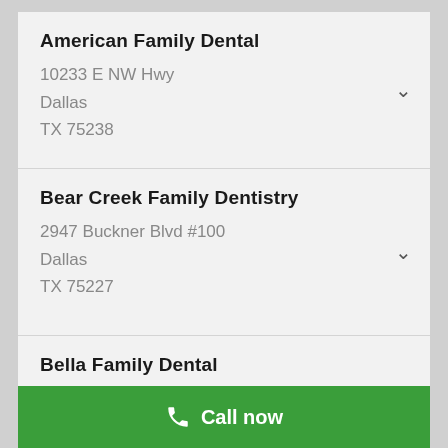American Family Dental
10233 E NW Hwy
Dallas
TX 75238
Bear Creek Family Dentistry
2947 Buckner Blvd #100
Dallas
TX 75227
Bella Family Dental
347 Jefferson Blvd
Call now